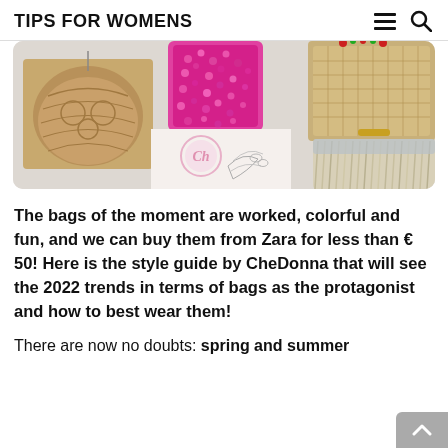TIPS FOR WOMENS
[Figure (photo): Collage of fashionable bags including a brown textured crossbody bag, a pink sequined bag, a wicker box bag with beaded handle, and a cream fringe/tassel bag, with a CheDonna watermark logo and a silver botanical illustration]
The bags of the moment are worked, colorful and fun, and we can buy them from Zara for less than € 50! Here is the style guide by CheDonna that will see the 2022 trends in terms of bags as the protagonist and how to best wear them!
There are now no doubts: spring and summer